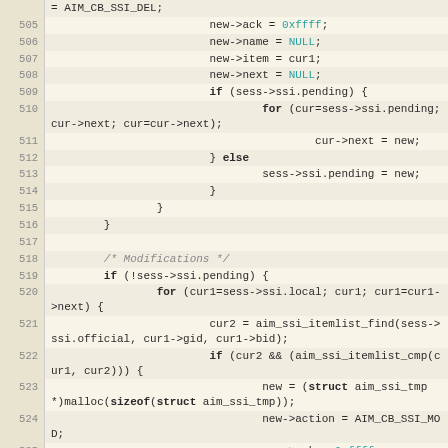Code listing lines 505-528 showing C source code with SSI pending/modification logic